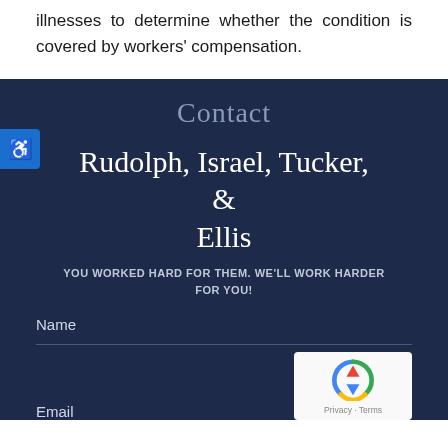illnesses to determine whether the condition is covered by workers' compensation.
Contact
Rudolph, Israel, Tucker, & Ellis
YOU WORKED HARD FOR THEM. WE'LL WORK HARDER FOR YOU!
Name
Email